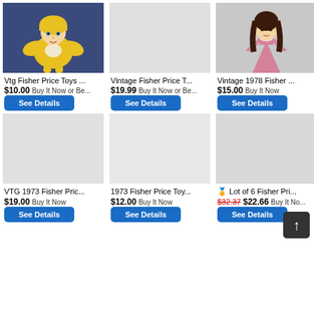[Figure (photo): Yellow dressed baby doll with yellow bonnet against blue fabric background]
Vtg Fisher Price Toys ...
$10.00 Buy It Now or Be...
See Details
[Figure (photo): Middle top product listing - no image shown, gray background]
Vintage Fisher Price T...
$19.99 Buy It Now or Be...
See Details
[Figure (photo): Vintage 1978 Fisher Price doll in pink dress with dark hair]
Vintage 1978 Fisher ...
$15.00 Buy It Now
See Details
[Figure (photo): Bottom left product listing - no image shown]
VTG 1973 Fisher Pric...
$19.00 Buy It Now
See Details
[Figure (photo): Bottom middle product listing - no image shown]
1973 Fisher Price Toy...
$12.00 Buy It Now
See Details
[Figure (photo): Bottom right product listing - Lot of 6 Fisher Price]
🏅 Lot of 6 Fisher Pri...
$32.37 $22.66 Buy It No...
See Details